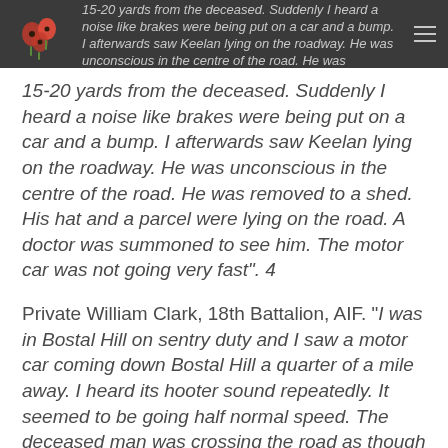15-20 yards from the deceased. Suddenly I heard a noise like brakes were being put on a car and a bump.
15-20 yards from the deceased. Suddenly I heard a noise like brakes were being put on a car and a bump. I afterwards saw Keelan lying on the roadway. He was unconscious in the centre of the road. He was removed to a shed. His hat and a parcel were lying on the road. A doctor was summoned to see him. The motor car was not going very fast". 4
Private William Clark, 18th Battalion, AIF. "I was in Bostal Hill on sentry duty and I saw a motor car coming down Bostal Hill a quarter of a mile away. I heard its hooter sound repeatedly. It seemed to be going half normal speed. The deceased man was crossing the road as though lost in thought and his